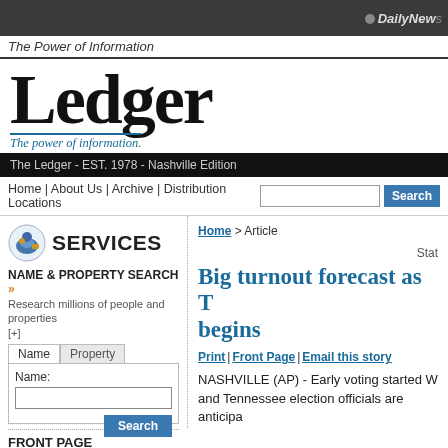DailyNews
The Power of Information
[Figure (logo): Ledger newspaper logo with tagline 'The power of information.']
The Ledger - EST. 1978 - Nashville Edition
Home | About Us | Archive | Distribution Locations
Home > Article
Stat
NAME & PROPERTY SEARCH »
Research millions of people and properties [+]
Big turnout forecast as T begins
Print | Front Page | Email this story
NASHVILLE (AP) - Early voting started W and Tennessee election officials are anticipa
FRONT PAGE NEWS